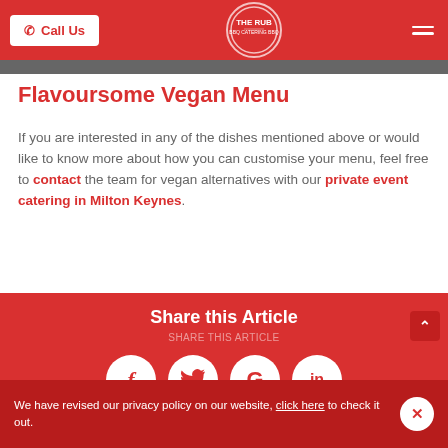Call Us | THE RUB BBQ
Flavoursome Vegan Menu
If you are interested in any of the dishes mentioned above or would like to know more about how you can customise your menu, feel free to contact the team for vegan alternatives with our private event catering in Milton Keynes.
Share this Article
[Figure (infographic): Social sharing icons: Facebook (f), Twitter (bird), Google (G), LinkedIn (in)]
We have revised our privacy policy on our website, click here to check it out.